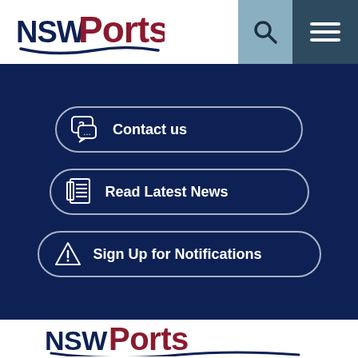[Figure (logo): NSW Ports logo in header - NSW in dark navy bold, Ports in dark red bold, with navy swoosh underline]
[Figure (logo): Search icon (magnifying glass) on steel blue background]
[Figure (logo): Hamburger menu icon (three horizontal lines) on dark navy background]
Contact us
Read Latest News
Sign Up for Notifications
[Figure (logo): NSW Ports large logo - NSW in dark navy bold, Ports in dark red bold, with navy swoosh underline]